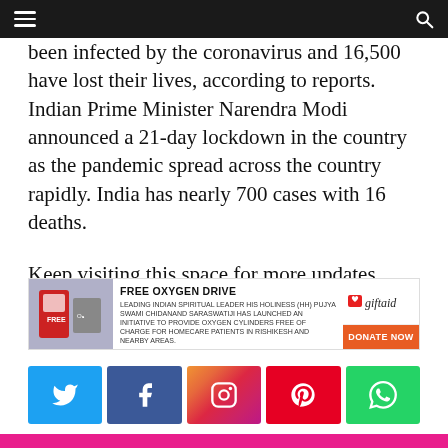Navigation header with hamburger menu and search icon
been infected by the coronavirus and 16,500 have lost their lives, according to reports. Indian Prime Minister Narendra Modi announced a 21-day lockdown in the country as the pandemic spread across the country rapidly. India has nearly 700 cases with 16 deaths.
Keep visiting this space for more updates from the world of entertainment.
[Figure (infographic): FREE OXYGEN DRIVE advertisement banner. Leading Indian Spiritual Leader His Holiness (HH) Pujya Swami Chidanand Saraswatiji has launched an initiative to provide oxygen cylinders free of charge for homecare patients in Rishikesh and nearby areas. Donate Now button with giftaid logo.]
[Figure (infographic): Social media share buttons: Twitter (blue), Facebook (dark blue), Instagram (gradient), Pinterest (red), WhatsApp (green)]